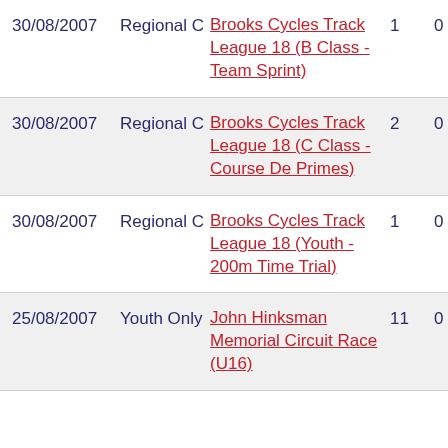| Date | Category | Event | Pos | Pts |
| --- | --- | --- | --- | --- |
| 30/08/2007 | Regional C | Brooks Cycles Track League 18 (B Class - Team Sprint) | 1 | 0 |
| 30/08/2007 | Regional C | Brooks Cycles Track League 18 (C Class - Course De Primes) | 2 | 0 |
| 30/08/2007 | Regional C | Brooks Cycles Track League 18 (Youth - 200m Time Trial) | 1 | 0 |
| 25/08/2007 | Youth Only | John Hinksman Memorial Circuit Race (U16) | 11 | 0 |